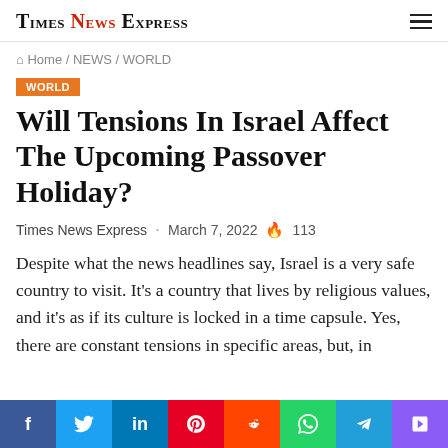Times News Express
Home / NEWS / WORLD
WORLD
Will Tensions In Israel Affect The Upcoming Passover Holiday?
Times News Express · March 7, 2022 🔥 113
Despite what the news headlines say, Israel is a very safe country to visit. It's a country that lives by religious values, and it's as if its culture is locked in a time capsule. Yes, there are constant tensions in specific areas, but, in
f  t  in  p  r  w  ✈  ☎